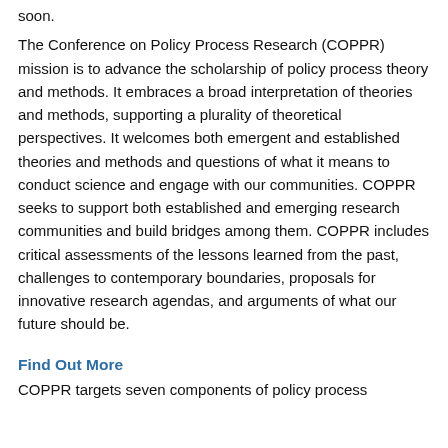soon.
The Conference on Policy Process Research (COPPR) mission is to advance the scholarship of policy process theory and methods. It embraces a broad interpretation of theories and methods, supporting a plurality of theoretical perspectives. It welcomes both emergent and established theories and methods and questions of what it means to conduct science and engage with our communities. COPPR seeks to support both established and emerging research communities and build bridges among them. COPPR includes critical assessments of the lessons learned from the past, challenges to contemporary boundaries, proposals for innovative research agendas, and arguments of what our future should be.
Find Out More
COPPR targets seven components of policy process